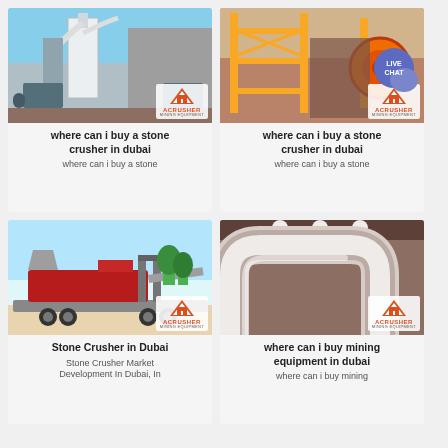[Figure (photo): Industrial stone crusher / grinding machine with white cylindrical structures and pipes, with ACrusher Mining Equipment logo]
where can i buy a stone crusher in dubai
where can i buy a stone
[Figure (photo): Large yellow industrial mining/crushing equipment structure, with ACrusher Mining Equipment logo and LIVE CHAT bubble]
where can i buy a stone crusher in dubai
where can i buy a stone
[Figure (photo): Mobile stone crusher on a flatbed truck trailer, red crusher unit, with ACrusher Mining Equipment logo]
Stone Crusher in Dubai
Stone Crusher Market
Development In Dubai, In
[Figure (photo): Large industrial pipe/duct machinery in beige/cream color, with ACrusher Mining Equipment logo]
where can i buy mining equipment in dubai
where can i buy mining